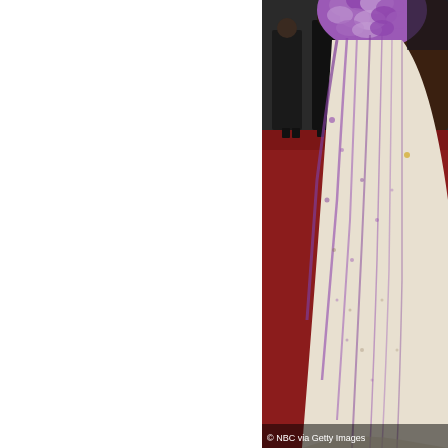[Figure (photo): A woman wearing a strapless purple and white floral gown with petal embellishments at the top, standing on a red carpet at an awards event. People in black suits are visible in the background. Red carpet is prominent. Photo credit: NBC via Getty Images.]
© NBC via Getty Images